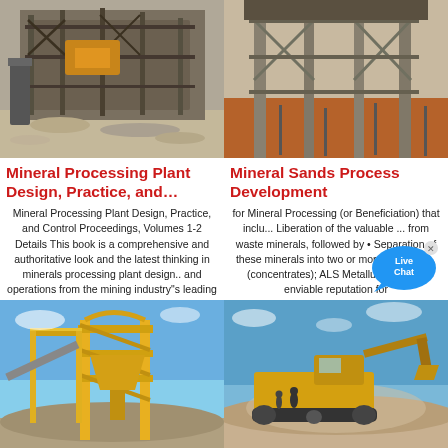[Figure (photo): Industrial mineral processing plant machinery with metal framework and conveyor structures on gravel ground]
[Figure (photo): Construction site with steel structural columns and red dirt ground]
Mineral Processing Plant Design, Practice, and…
Mineral Sands Process Development
Mineral Processing Plant Design, Practice, and Control Proceedings, Volumes 1-2 Details This book is a comprehensive and authoritative look and the latest thinking in minerals processing plant design.. and operations from the mining industry"s leading engineers,
for Mineral Processing (or Beneficiation) that inclu... Liberation of the valuable ... from waste minerals, followed by • Separation of these minerals into two or more products… (concentrates); ALS Metallurgy has an enviable reputation for
[Figure (photo): Yellow mining processing plant structure with conveyor and hopper equipment against blue sky]
[Figure (photo): Heavy mining machinery/bulldozer on a dusty site with blue sky background]